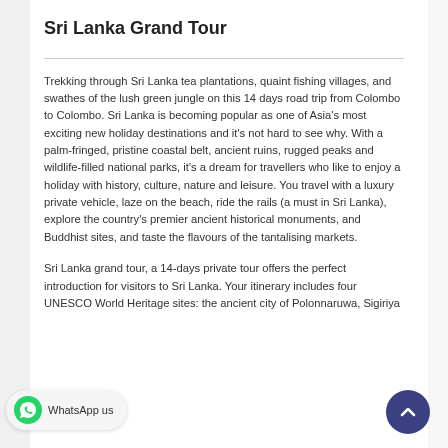Sri Lanka Grand Tour
Trekking through Sri Lanka tea plantations, quaint fishing villages, and swathes of the lush green jungle on this 14 days road trip from Colombo to Colombo. Sri Lanka is becoming popular as one of Asia's most exciting new holiday destinations and it's not hard to see why. With a palm-fringed, pristine coastal belt, ancient ruins, rugged peaks and wildlife-filled national parks, it's a dream for travellers who like to enjoy a holiday with history, culture, nature and leisure. You travel with a luxury private vehicle, laze on the beach, ride the rails (a must in Sri Lanka), explore the country's premier ancient historical monuments, and Buddhist sites, and taste the flavours of the tantalising markets.
Sri Lanka grand tour, a 14-days private tour offers the perfect introduction for visitors to Sri Lanka. Your itinerary includes four UNESCO World Heritage sites: the ancient city of Polonnaruwa, Sigiriya